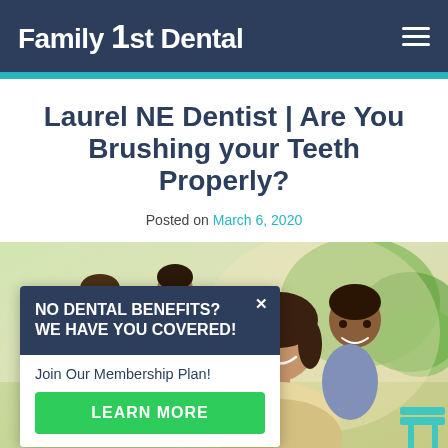Family 1st Dental
Laurel NE Dentist | Are You Brushing your Teeth Properly?
Posted on March 6, 2020
[Figure (photo): Family photo showing a smiling woman with a child on her back and other family members in an outdoor setting]
NO DENTAL BENEFITS? WE HAVE YOU COVERED!
Join Our Membership Plan!
LEARN MORE